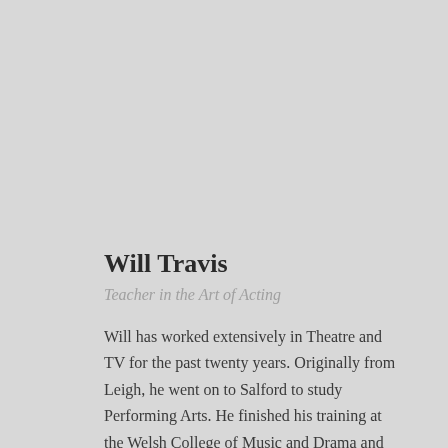Will Travis
Teacher in the Art of Acting
Will has worked extensively in Theatre and TV for the past twenty years. Originally from Leigh, he went on to Salford to study Performing Arts. He finished his training at the Welsh College of Music and Drama and achieved a Licentiate Diploma in Performing Arts.